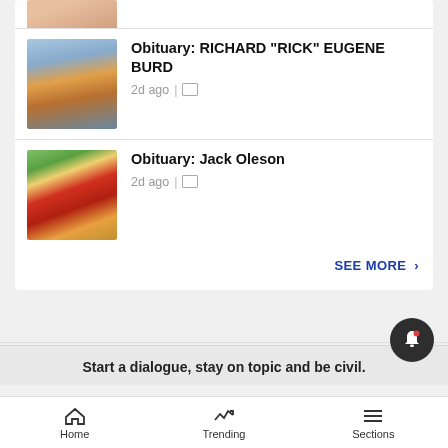[Figure (photo): Partial photo of a person at top of card]
Obituary: RICHARD "RICK" EUGENE BURD — 2d ago
[Figure (photo): Man on horseback wearing orange jacket]
Obituary: Jack Oleson — 2d ago
[Figure (photo): Smiling man in red shirt wearing white hat]
SEE MORE >
Start a dialogue, stay on topic and be civil.
Home | Trending | Sections